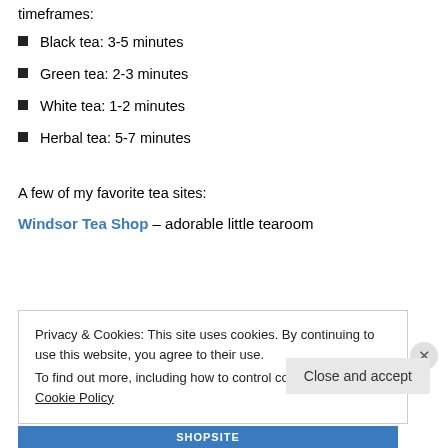timeframes:
Black tea: 3-5 minutes
Green tea: 2-3 minutes
White tea: 1-2 minutes
Herbal tea: 5-7 minutes
A few of my favorite tea sites:
Windsor Tea Shop – adorable little tearoom
Privacy & Cookies: This site uses cookies. By continuing to use this website, you agree to their use.
To find out more, including how to control cookies, see here: Cookie Policy
Close and accept